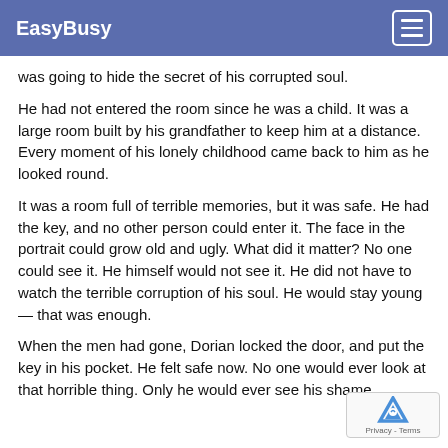EasyBusy
was going to hide the secret of his corrupted soul.
He had not entered the room since he was a child. It was a large room built by his grandfather to keep him at a distance. Every moment of his lonely childhood came back to him as he looked round.
It was a room full of terrible memories, but it was safe. He had the key, and no other person could enter it. The face in the portrait could grow old and ugly. What did it matter? No one could see it. He himself would not see it. He did not have to watch the terrible corruption of his soul. He would stay young — that was enough.
When the men had gone, Dorian locked the door, and put the key in his pocket. He felt safe now. No one would ever look at that horrible thing. Only he would ever see his shame.